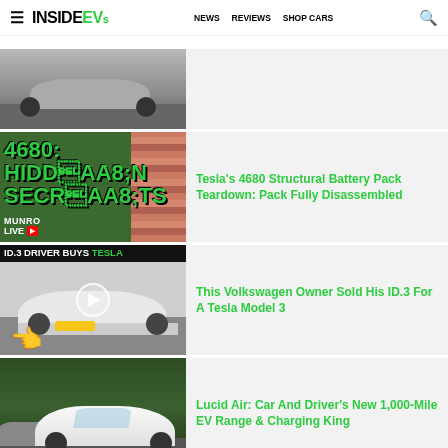InsideEVs — NEWS REVIEWS SHOP CARS
[Figure (screenshot): Partial thumbnail of a gray electric vehicle]
[Figure (screenshot): Thumbnail with green text reading '4680: HIDDEN SECRETS' from Munro Live YouTube channel]
Tesla's 4680 Structural Battery Pack Teardown: Pack Fully Disassembled
[Figure (screenshot): Thumbnail with banner reading 'ID.3 DRIVER BUYS TESLA' showing a white Tesla Model 3 with play button overlay]
This Volkswagen Owner Sold His ID.3 For A Tesla Model 3
[Figure (screenshot): Thumbnail showing white Lucid Air driving on a road surrounded by greenery]
Lucid Air: Car And Driver's New 1,000-Mile EV Range & Charging King